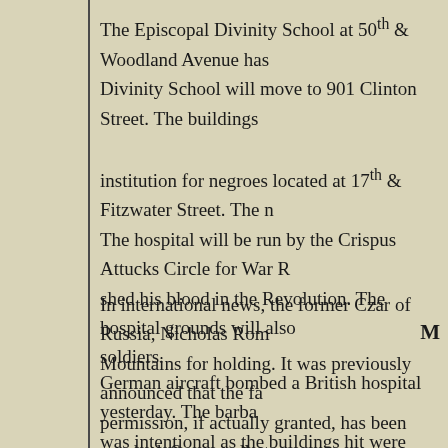The Episcopal Divinity School at 50th & Woodland Avenue has Divinity School will move to 901 Clinton Street. The buildings institution for negroes located at 17th & Fitzwater Street. The n The hospital will be run by the Crispus Attucks Circle for War R shed his blood in the Revolution. The hospital grounds will also soldiers.
In international news, the former Czar of Russia, Nicholas Rom Mountains for holding. It was previously announced that the fa permission, if actually granted, has been revoked. Supposedly t learning of the plan the Soviet Government decided to move th while their fate is decided. .
German aircraft bombed a British hospital yesterday. The barba was intentional as the buildings hit were clearly marked with la